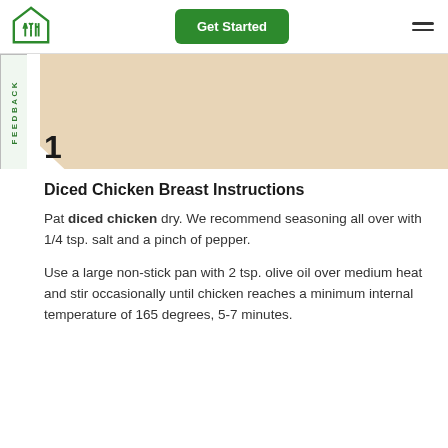[Figure (logo): Green house/home icon with fork and knife inside, representing a meal kit service logo]
[Figure (other): Beige/tan angled shape representing a step card image area with step number 1]
Diced Chicken Breast Instructions
Pat diced chicken dry. We recommend seasoning all over with 1/4 tsp. salt and a pinch of pepper.
Use a large non-stick pan with 2 tsp. olive oil over medium heat and stir occasionally until chicken reaches a minimum internal temperature of 165 degrees, 5-7 minutes.